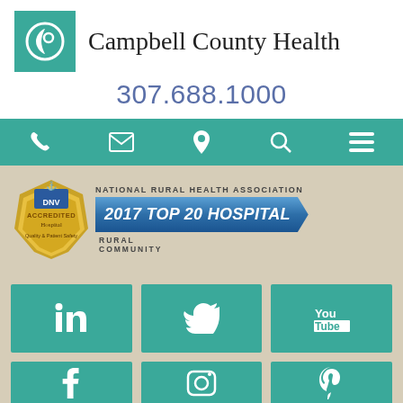[Figure (logo): Campbell County Health logo with teal background and white crescent/circle icon]
Campbell County Health
307.688.1000
[Figure (infographic): Navigation bar with phone, email, location, search, and menu icons on teal background]
[Figure (infographic): DNV Accredited Hospital badge and National Rural Health Association 2017 Top 20 Hospital Rural Community award banner]
[Figure (infographic): Social media tiles: LinkedIn, Twitter, YouTube, Facebook, Instagram, Pinterest on teal squares with sandy background]